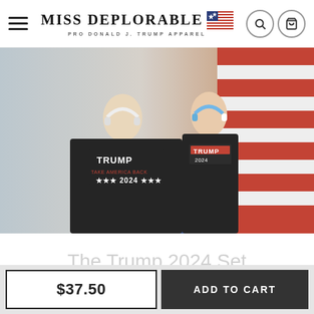MISS DEPLORABLE — PRO DONALD J. TRUMP APPAREL
[Figure (photo): Two people wearing Trump 2024 apparel — a man in a black t-shirt reading 'TRUMP TAKE AMERICA BACK 2024' and a woman in a black tank top reading 'TRUMP 2024', both wearing white headphones, standing in front of an American flag.]
The Trump 2024 Set
$37.50
$37.50
ADD TO CART